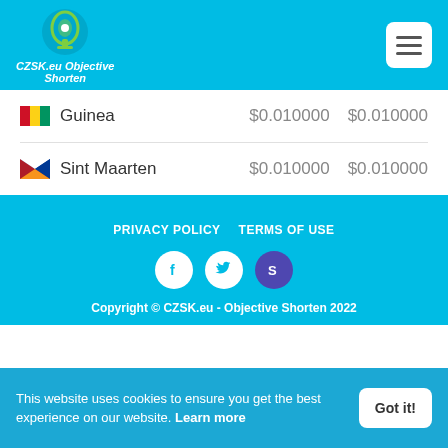CZSK.eu Objective Shorten
| Country | Price 1 | Price 2 |
| --- | --- | --- |
| Guinea | $0.010000 | $0.010000 |
| Sint Maarten | $0.010000 | $0.010000 |
PRIVACY POLICY   TERMS OF USE
[Figure (other): Social icons: Facebook, Twitter, Skrill]
Copyright © CZSK.eu - Objective Shorten 2022
This website uses cookies to ensure you get the best experience on our website. Learn more